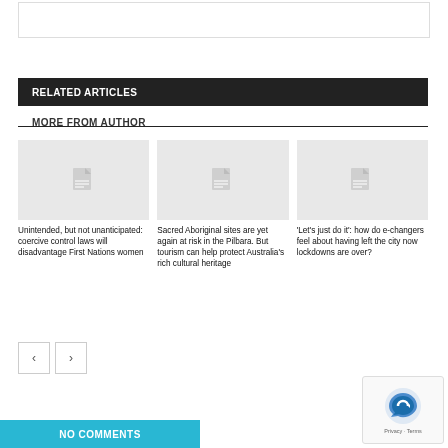[Figure (other): Empty white box with border at top of page]
RELATED ARTICLES
MORE FROM AUTHOR
[Figure (other): Article thumbnail placeholder with document icon — Unintended, but not unanticipated: coercive control laws will disadvantage First Nations women]
Unintended, but not unanticipated: coercive control laws will disadvantage First Nations women
[Figure (other): Article thumbnail placeholder with document icon — Sacred Aboriginal sites are yet again at risk in the Pilbara. But tourism can help protect Australia's rich cultural heritage]
Sacred Aboriginal sites are yet again at risk in the Pilbara. But tourism can help protect Australia's rich cultural heritage
[Figure (other): Article thumbnail placeholder with document icon — 'Let's just do it': how do e-changers feel about having left the city now lockdowns are over?]
'Let's just do it': how do e-changers feel about having left the city now lockdowns are over?
NO COMMENTS